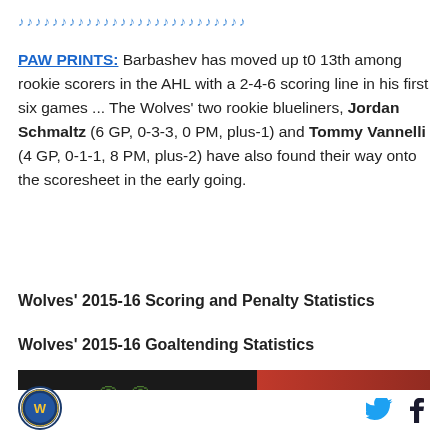♪♪♪♪♪♪♪♪♪♪♪♪♪♪♪♪♪♪♪♪♪♪♪♪♪♪♪
PAW PRINTS: Barbashev has moved up t0 13th among rookie scorers in the AHL with a 2-4-6 scoring line in his first six games ... The Wolves' two rookie blueliners, Jordan Schmaltz (6 GP, 0-3-3, 0 PM, plus-1) and Tommy Vannelli (4 GP, 0-1-1, 8 PM, plus-2) have also found their way onto the scoresheet in the early going.
Wolves' 2015-16 Scoring and Penalty Statistics
Wolves' 2015-16 Goaltending Statistics
[Figure (photo): Chicago Wolves banner/promotional image with dark background showing owl eyes and red section with text CHICAGO WOLVES]
Chicago Wolves logo, Twitter and Facebook social icons